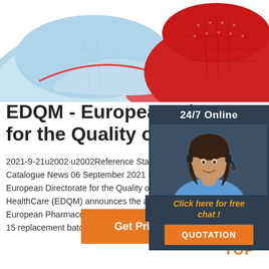[Figure (photo): Two baseball caps: one light blue with red brim on the left, one red/dark mesh cap on the right, shown from a top/side angle on white background]
EDQM - European Directorate for the Quality of Medicine
2021-9-21u2002·u2002Reference Standard Collecti Catalogue News 06 September 2021 Strasbourg, Fr European Directorate for the Quality of Medicines & HealthCare (EDQM) announces the availability of 2 European Pharmacopoeia (Ph. Eur.) reference stan 15 replacement batches for Ph. Eur. reference stand
[Figure (photo): 24/7 Online chat panel with a smiling woman wearing a headset, orange 'Click here for free chat!' text, and an orange QUOTATION button]
[Figure (other): Orange 'Get Price' button]
[Figure (other): Orange TOP arrow icon with orange TOP text at bottom right]